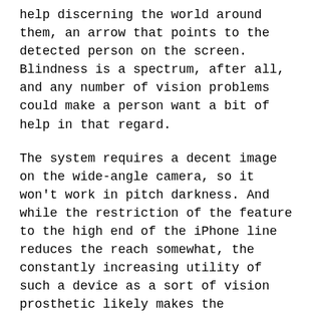help discerning the world around them, an arrow that points to the detected person on the screen. Blindness is a spectrum, after all, and any number of vision problems could make a person want a bit of help in that regard.
The system requires a decent image on the wide-angle camera, so it won't work in pitch darkness. And while the restriction of the feature to the high end of the iPhone line reduces the reach somewhat, the constantly increasing utility of such a device as a sort of vision prosthetic likely makes the investment in the hardware more palatable to people who need it. Here's how it works so far:
This is far from the first tool like this — many phones and dedicated devices have features for finding